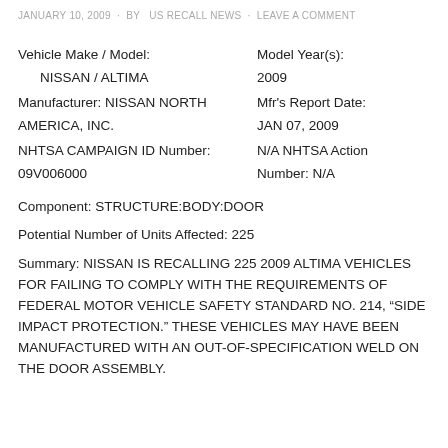JANUARY 10, 2009 · BY US RECALL NEWS · LEAVE A COMMENT
Vehicle Make / Model:
    NISSAN / ALTIMA
Manufacturer: NISSAN NORTH AMERICA, INC.
NHTSA CAMPAIGN ID Number: 09V006000
Model Year(s):
2009
Mfr's Report Date:
JAN 07, 2009
N/A NHTSA Action Number: N/A
Component: STRUCTURE:BODY:DOOR
Potential Number of Units Affected: 225
Summary: NISSAN IS RECALLING 225 2009 ALTIMA VEHICLES FOR FAILING TO COMPLY WITH THE REQUIREMENTS OF FEDERAL MOTOR VEHICLE SAFETY STANDARD NO. 214, “SIDE IMPACT PROTECTION.” THESE VEHICLES MAY HAVE BEEN MANUFACTURED WITH AN OUT-OF-SPECIFICATION WELD ON THE DOOR ASSEMBLY.